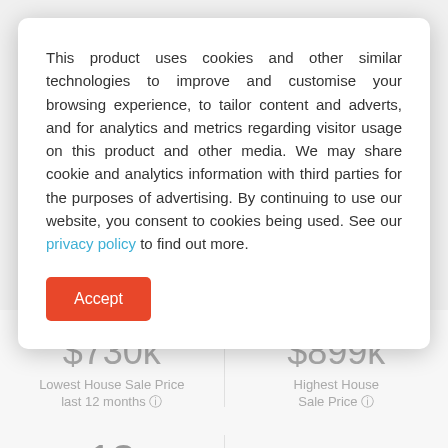This product uses cookies and other similar technologies to improve and customise your browsing experience, to tailor content and adverts, and for analytics and metrics regarding visitor usage on this product and other media. We may share cookie and analytics information with third parties for the purposes of advertising. By continuing to use our website, you consent to cookies being used. See our privacy policy to find out more.
Accept
$730k
Lowest House Sale Price last 12 months
$899k
Highest House Sale Price
13
Houses
No Houses currently for sale